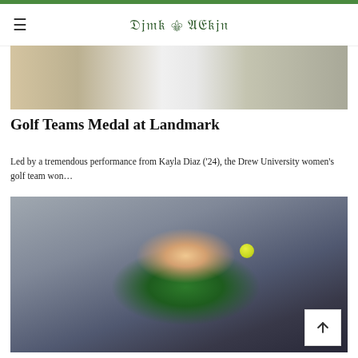Drew Acorn
[Figure (photo): Partial photo of golf or sports player, cropped at top showing torso/face area, outdoor background]
Golf Teams Medal at Landmark
Led by a tremendous performance from Kayla Diaz ('24), the Drew University women's golf team won...
[Figure (photo): Female tennis player in green Drew University athletic uniform hitting a forehand shot, tennis ball visible in air, outdoor court with dark background]